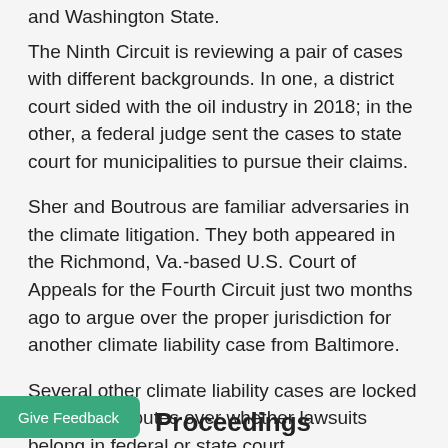and Washington State.
The Ninth Circuit is reviewing a pair of cases with different backgrounds. In one, a district court sided with the oil industry in 2018; in the other, a federal judge sent the cases to state court for municipalities to pursue their claims.
Sher and Boutrous are familiar adversaries in the climate litigation. They both appeared in the Richmond, Va.-based U.S. Court of Appeals for the Fourth Circuit just two months ago to argue over the proper jurisdiction for another climate liability case from Baltimore.
Several other climate liability cases are locked in similar disputes over whether lawsuits belong in federal or state court.
Proceedings